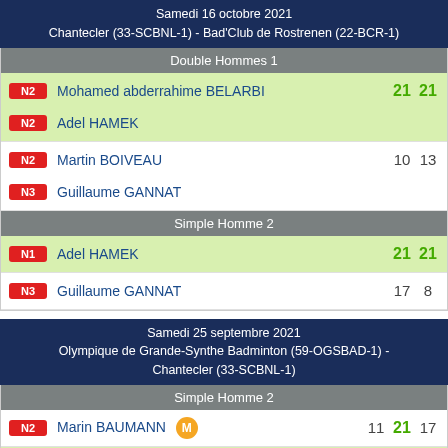Samedi 16 octobre 2021 Chantecler (33-SCBNL-1) - Bad'Club de Rostrenen (22-BCR-1)
Double Hommes 1
N2 Mohamed abderrahime BELARBI 21 21
N2 Adel HAMEK
N2 Martin BOIVEAU 10 13
N3 Guillaume GANNAT
Simple Homme 2
N1 Adel HAMEK 21 21
N3 Guillaume GANNAT 17 8
Samedi 25 septembre 2021 Olympique de Grande-Synthe Badminton (59-OGSBAD-1) - Chantecler (33-SCBNL-1)
Simple Homme 2
N2 Marin BAUMANN M 11 21 17
N1 Adel HAMEK 21 18 21